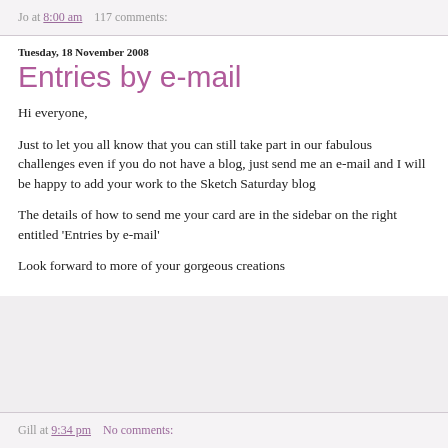Jo at 8:00 am    117 comments:
Tuesday, 18 November 2008
Entries by e-mail
Hi everyone,

Just to let you all know that you can still take part in our fabulous challenges even if you do not have a blog, just send me an e-mail and I will be happy to add your work to the Sketch Saturday blog

The details of how to send me your card are in the sidebar on the right entitled 'Entries by e-mail'

Look forward to more of your gorgeous creations
Gill at 9:34 pm    No comments: